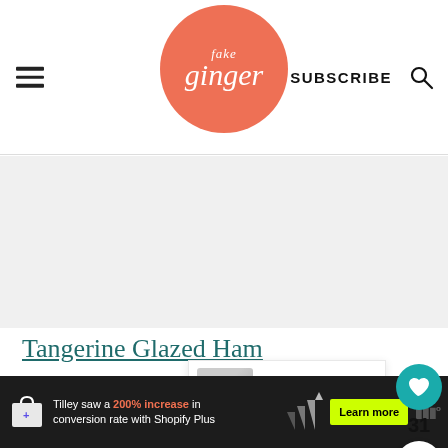Fake Ginger — SUBSCRIBE
[Figure (other): Advertisement banner placeholder (light gray area)]
Tangerine Glazed Ham
[Figure (other): Heart/like button with teal background showing 31 likes, and a share button below]
[Figure (other): What's Next panel with thumbnail showing Cranberry Macadamia...]
[Figure (other): Bottom advertisement: Tilley saw a 200% increase in conversion rate with Shopify Plus — Learn more button]